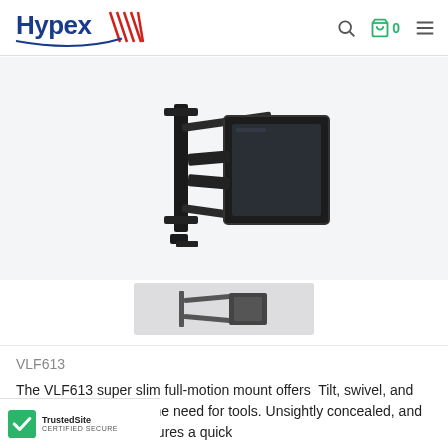Hypex — navigation with search, cart (0), and menu icons
[Figure (photo): A full-motion TV wall mount bracket (VLF613) shown at an angle on a light gray background. The mount is black metal with arm extensions.]
[Figure (photo): Small thumbnail image of the VLF613 TV wall mount bracket.]
VLF613
The VLF613 super slim full-motion mount offers Tilt, swivel, and level your TV without the need for tools. Unsightly concealed, and tool-free assembly ensures a quick
[Figure (logo): TrustedSite CERTIFIED SECURE badge with green checkmark]